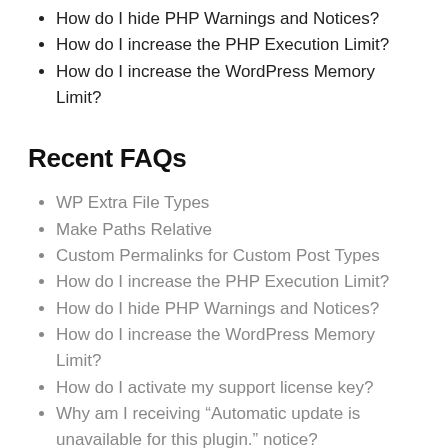How do I hide PHP Warnings and Notices?
How do I increase the PHP Execution Limit?
How do I increase the WordPress Memory Limit?
Recent FAQs
WP Extra File Types
Make Paths Relative
Custom Permalinks for Custom Post Types
How do I increase the PHP Execution Limit?
How do I hide PHP Warnings and Notices?
How do I increase the WordPress Memory Limit?
How do I activate my support license key?
Why am I receiving “Automatic update is unavailable for this plugin.” notice?
Where do I find my support license keys?